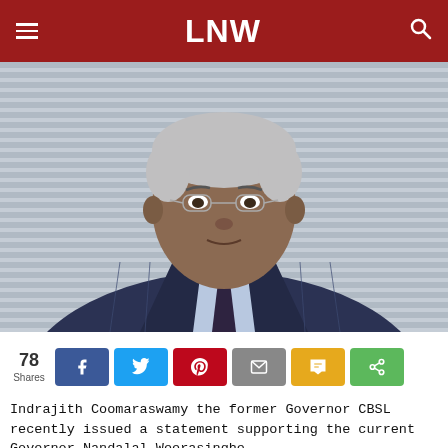LNW
[Figure (photo): Elderly South Asian man in a dark pinstripe suit with a light blue shirt and dark tie with small pattern, wearing rimless glasses, with grey hair, seated in front of horizontal venetian blinds backdrop.]
78 Shares
Indrajith Coomaraswamy the former Governor CBSL recently issued a statement supporting the current Governor Nandalal Weerasinghe.